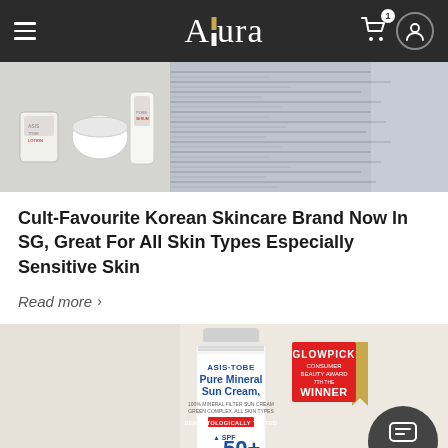Allura
[Figure (photo): Two side-by-side photos: left shows skincare product bottles/jars on shelf, right shows close-up of product packaging with text pattern]
Cult-Favourite Korean Skincare Brand Now In SG, Great For All Skin Types Especially Sensitive Skin
Read more >
[Figure (photo): ASIS-TOBE Pure Mineral Sun Cream product tube on white background with Glowpick Consumer Beauty Award Winner badge and Contact button overlay]